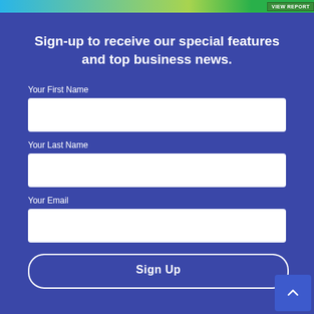[Figure (screenshot): Top banner with gradient background (blue to green) and VIEW REPORT label on the right]
Sign-up to receive our special features and top business news.
Your First Name
Your Last Name
Your Email
Sign Up